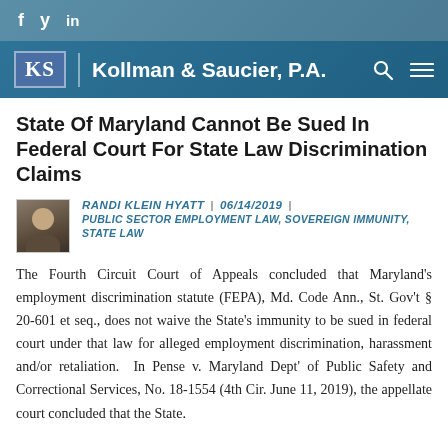f  y  in
KS | Kollman & Saucier, P.A.
State Of Maryland Cannot Be Sued In Federal Court For State Law Discrimination Claims
RANDI KLEIN HYATT  |  06/14/2019  |  PUBLIC SECTOR EMPLOYMENT LAW, SOVEREIGN IMMUNITY, STATE LAW
The Fourth Circuit Court of Appeals concluded that Maryland's employment discrimination statute (FEPA), Md. Code Ann., St. Gov't § 20-601 et seq., does not waive the State's immunity to be sued in federal court under that law for alleged employment discrimination, harassment and/or retaliation.  In Pense v. Maryland Dept' of Public Safety and Correctional Services, No. 18-1554 (4th Cir. June 11, 2019), the appellate court concluded that the State.